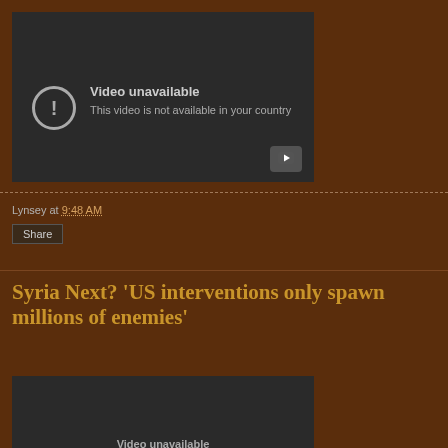[Figure (screenshot): YouTube video player showing 'Video unavailable - This video is not available in your country' message with a play button in the bottom right corner]
Lynsey at 9:48 AM
Share
Syria Next? 'US interventions only spawn millions of enemies'
[Figure (screenshot): Second YouTube video player showing 'Video unavailable' message, partially visible]